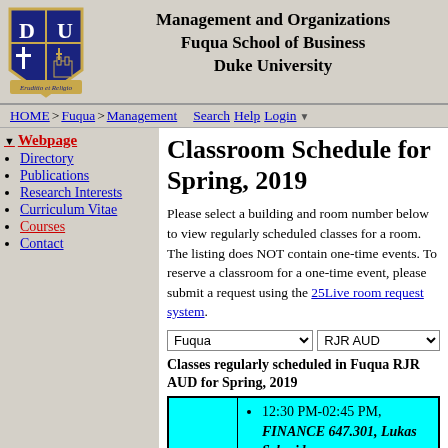Management and Organizations
Fuqua School of Business
Duke University
HOME > Fuqua > Management   Search Help Login
Webpage
Directory
Publications
Research Interests
Curriculum Vitae
Courses
Contact
Classroom Schedule for Spring, 2019
Please select a building and room number below to view regularly scheduled classes for a room. The listing does NOT contain one-time events. To reserve a classroom for a one-time event, please submit a request using the 25Live room request system.
Classes regularly scheduled in Fuqua RJR AUD for Spring, 2019
|  | Schedule |
| --- | --- |
|  | 12:30 PM-02:45 PM, FINANCE 647.301, Lukas Schmid |